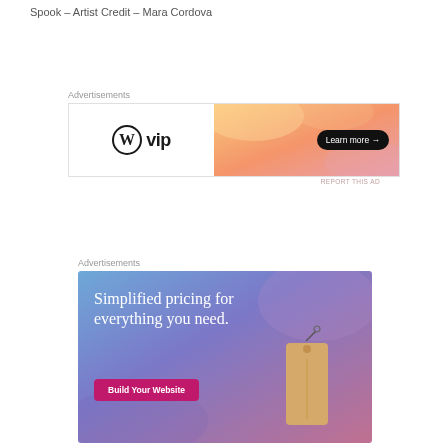Spook – Artist Credit – Mara Cordova
Advertisements
[Figure (other): WordPress VIP banner ad with orange gradient background and 'Learn more →' button]
Advertisements
[Figure (other): WordPress.com ad with blue-purple gradient background, text 'Simplified pricing for everything you need.' and 'Build Your Website' button, with a price tag illustration]